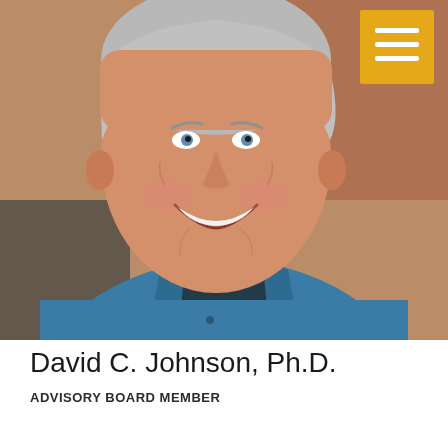[Figure (photo): Headshot photo of an older man smiling, wearing a teal/blue button-up shirt, photographed in what appears to be a restaurant or bar setting with a brick wall background. A golden/amber colored hamburger menu button icon appears in the top right corner of the photo.]
David C. Johnson, Ph.D.
ADVISORY BOARD MEMBER